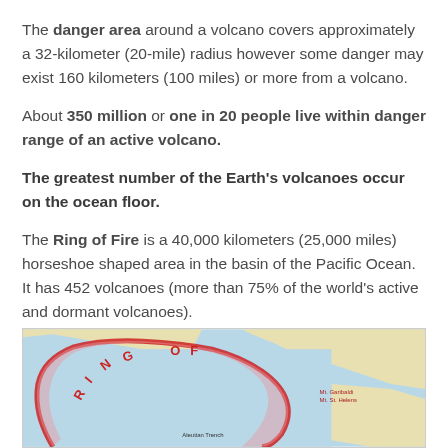The danger area around a volcano covers approximately a 32-kilometer (20-mile) radius however some danger may exist 160 kilometers (100 miles) or more from a volcano.
About 350 million or one in 20 people live within danger range of an active volcano.
The greatest number of the Earth's volcanoes occur on the ocean floor.
The Ring of Fire is a 40,000 kilometers (25,000 miles) horseshoe shaped area in the basin of the Pacific Ocean. It has 452 volcanoes (more than 75% of the world's active and dormant volcanoes).
[Figure (map): Map showing the Ring of Fire around the Pacific Ocean basin, with red horseshoe-shaped arc and text labels 'RING OF FIRE', 'Mt. Garibaldi', 'Aleutian Trench' visible.]